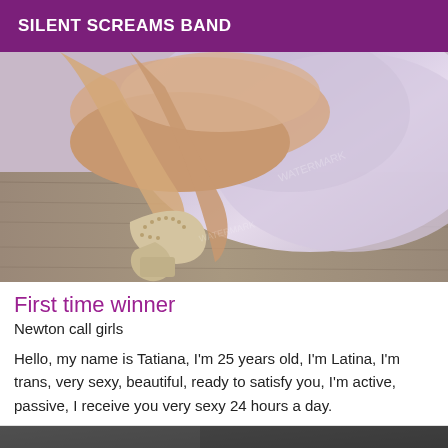SILENT SCREAMS BAND
[Figure (photo): Close-up photo of woman's legs in decorative beige heeled sandals on a light purple/lavender satin bedsheet, with wooden floor visible]
First time winner
Newton call girls
Hello, my name is Tatiana, I'm 25 years old, I'm Latina, I'm trans, very sexy, beautiful, ready to satisfy you, I'm active, passive, I receive you very sexy 24 hours a day.
[Figure (photo): Partial view of another listing photo, cut off at bottom of page, dark tones]